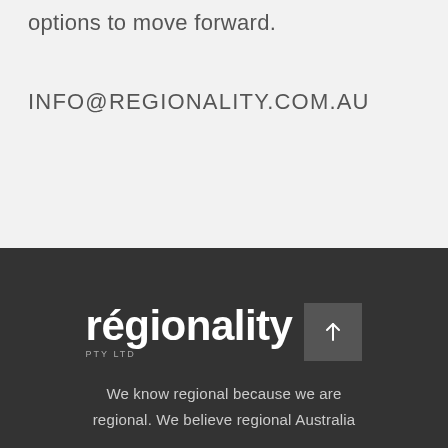options to move forward.
INFO@REGIONALITY.COM.AU
[Figure (logo): Regionality PTY LTD logo in white text on dark background, with an upward arrow button to the right]
We know regional because we are regional. We believe regional Australia